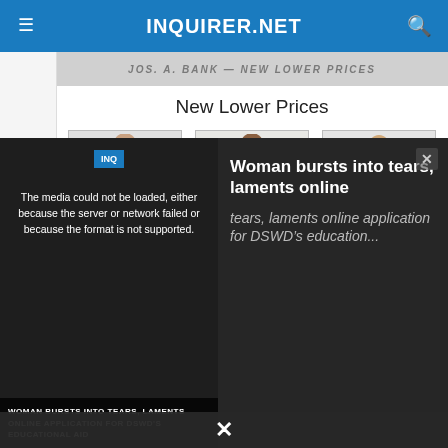INQUIRER.NET
New Lower Prices
[Figure (photo): Joseph & Feiss Charcoal Gray Cutaway Lapel suit worn by male model]
Joseph & Feiss Charcoal Gray Cutaway Lapel
$174.00
[Figure (photo): Pronto Uomo Tan Notch Lapel Suit worn by male model]
Pronto Uomo Tan Notch Lapel Suit
$210.00
[Figure (photo): Joseph & Feiss Boy's Black Suit worn by young boy model]
Joseph & Feiss Boy's Black Suit
$60.00
[Figure (screenshot): Video overlay showing error message: The media could not be loaded, either because the server or network failed or because the format is not supported. Video thumbnail shows woman. Headline: Woman bursts into tears, laments online application for DSWD's education...]
The media could not be loaded, either because the server or network failed or because the format is not supported.
Woman bursts into tears, laments online application for DSWD's education...